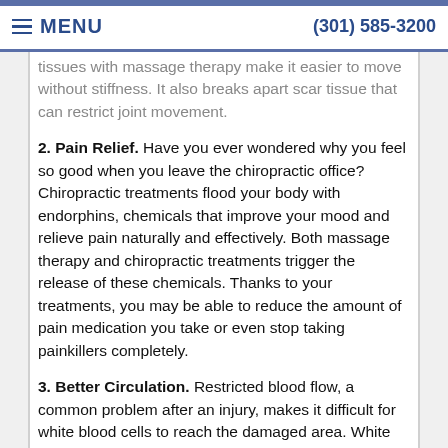MENU | (301) 585-3200
tissues with massage therapy make it easier to move without stiffness. It also breaks apart scar tissue that can restrict joint movement.
2. Pain Relief. Have you ever wondered why you feel so good when you leave the chiropractic office? Chiropractic treatments flood your body with endorphins, chemicals that improve your mood and relieve pain naturally and effectively. Both massage therapy and chiropractic treatments trigger the release of these chemicals. Thanks to your treatments, you may be able to reduce the amount of pain medication you take or even stop taking painkillers completely.
3. Better Circulation. Restricted blood flow, a common problem after an injury, makes it difficult for white blood cells to reach the damaged area. White cells repair damaged cells and are essential for